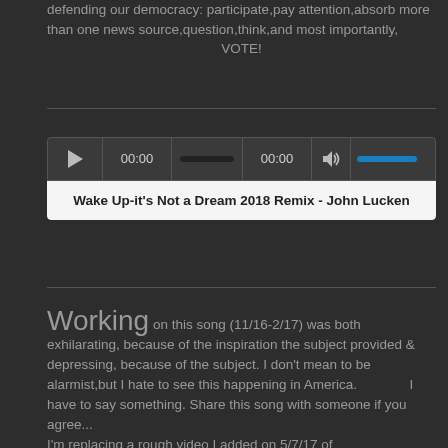defending our democracy: participate,pay attention,absorb more than one news source,question,think,and most importantly, VOTE!
[Figure (other): Audio player widget showing play button, time display 00:00, progress bar, end time 00:00, volume icon and volume bar. Below the controls is a white label bar reading: Wake Up-it's Not a Dream 2018 Remix - John Lucken]
Working on this song (11/16-2/17) was both exhilarating, because of the inspiration the subject provided & depressing, because of the subject. I don't mean to be alarmist,but I hate to see this happening in America.              I have to say something. Share this song with someone if you agree...
I'm replacing a rough video I added on 5/7/17 of